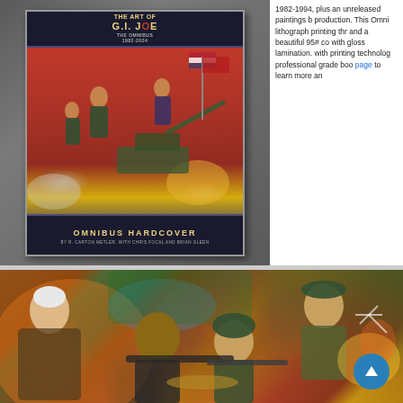[Figure (photo): Book cover for 'The Art of G.I. Joe Omnibus Hardcover' shown in a cartridge/device frame, with action artwork featuring military figures, a tank, flag, and explosions on a red background. Dark blue header and footer with gold text.]
1982-1994, plus an unreleased paintings b production. This Omni lithograph printing thr and a beautiful 95# co with gloss lamination. with printing technolog professional grade bo page to learn more an
[Figure (illustration): Comic book style illustration showing multiple G.I. Joe characters in action poses with weapons, wearing military gear, in an intense battle scene with orange, red, and green backgrounds.]